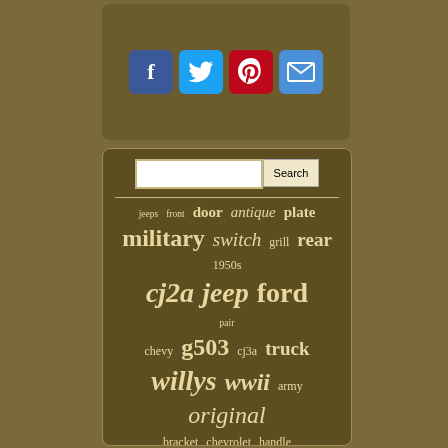[Figure (other): Social media icon buttons: Facebook (blue f), Twitter (blue bird), Pinterest (red P), Email (blue envelope)]
[Figure (other): Tag cloud for a vintage military Jeep/Willys parts website. Tags include: jeeps, front, door, antique, plate, military, switch, grill, rear, 1950s, cj2a, jeep, ford, pair, chevy, g503, cj3a, truck, willys, wwii, army, original, bracket, chevrolet, handle, vintage, 41-45, 1940s, fits, fuel, accessory, dash, light, dodge, 1930s]